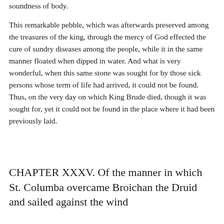soundness of body.
This remarkable pebble, which was afterwards preserved among the treasures of the king, through the mercy of God effected the cure of sundry diseases among the people, while it in the same manner floated when dipped in water. And what is very wonderful, when this same stone was sought for by those sick persons whose term of life had arrived, it could not be found. Thus, on the very day on which King Brude died, though it was sought for, yet it could not be found in the place where it had been previously laid.
CHAPTER XXXV. Of the manner in which St. Columba overcame Broichan the Druid and sailed against the wind